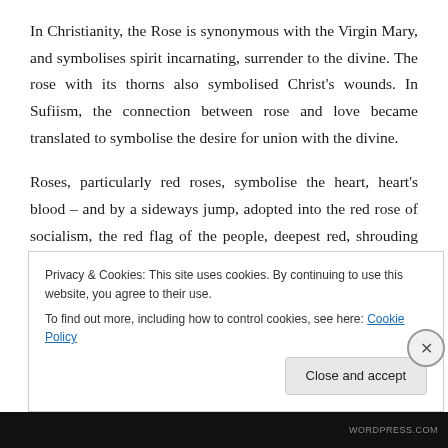In Christianity, the Rose is synonymous with the Virgin Mary, and symbolises spirit incarnating, surrender to the divine. The rose with its thorns also symbolised Christ's wounds. In Sufiism, the connection between rose and love became translated to symbolise the desire for union with the divine.
Roses, particularly red roses, symbolise the heart, heart's blood – and by a sideways jump, adopted into the red rose of socialism, the red flag of the people, deepest red, shrouding oft the martyred dead.
Privacy & Cookies: This site uses cookies. By continuing to use this website, you agree to their use.
To find out more, including how to control cookies, see here: Cookie Policy
Close and accept